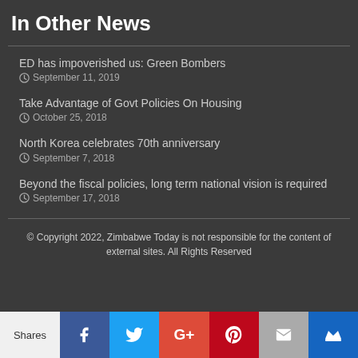In Other News
ED has impoverished us: Green Bombers
September 11, 2019
Take Advantage of Govt Policies On Housing
October 25, 2018
North Korea celebrates 70th anniversary
September 7, 2018
Beyond the fiscal policies, long term national vision is required
September 17, 2018
© Copyright 2022, Zimbabwe Today is not responsible for the content of external sites. All Rights Reserved